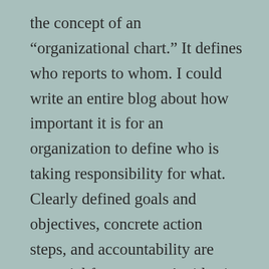the concept of an “organizational chart.”  It defines who reports to whom.  I could write an entire blog about how important it is for an organization to define who is taking responsibility for what.  Clearly defined goals and objectives, concrete action steps, and accountability are essential for success.  An idea is just an idea unless someone takes ownership for making it happen.
Assuming a leadership role, climbing higher on the org chart, is exhilarating.  You may have a stronger voice in decisions.  You may